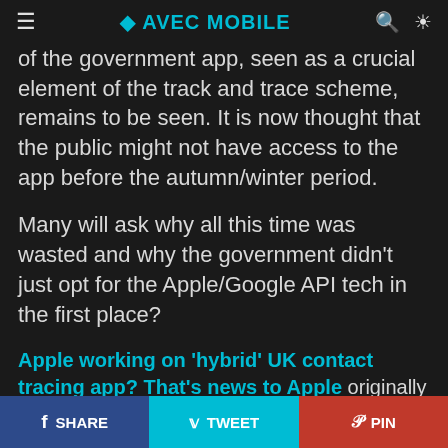≡  AVEC MOBILE  🔍  ☀
of the government app, seen as a crucial element of the track and trace scheme, remains to be seen. It is now thought that the public might not have access to the app before the autumn/winter period.
Many will ask why all this time was wasted and why the government didn't just opt for the Apple/Google API tech in the first place?
Apple working on 'hybrid' UK contact tracing app? That's news to Apple originally appeared on TrustedReviews.com
f Share
Tweet
Pin
f SHARE   TWEET   PIN